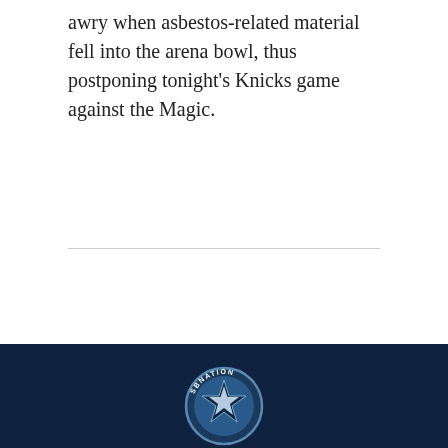awry when asbestos-related material fell into the arena bowl, thus postponing tonight's Knicks game against the Magic.
AD
[Figure (logo): SB Nation circular logo with star emblem on dark navy blue footer bar]